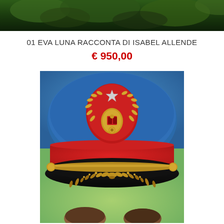[Figure (photo): Top partial image showing dark green foliage/plant elements at the top of the page]
01 EVA LUNA RACCONTA DI ISABEL ALLENDE
€ 950,00
[Figure (photo): Illustration of a military officer's cap (peaked cap) with red crown, gold emblem with wreath and star, gold rope trim, and black brim decorated with gold laurel leaf embroidery. Background shows blue uniform at top and green/teal color below. Bottom of image shows partial view of two heads.]